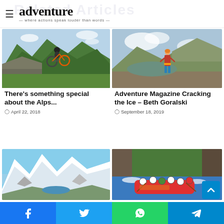adventure — where actions speak louder than words —
[Figure (photo): Mountain biker doing a jump off a rocky cliff with mountains in background]
There's something special about the Alps...
April 22, 2018
[Figure (photo): Female climber standing on a mountain summit looking at distant landscape]
Adventure Magazine Cracking the Ice – Beth Goralski
September 18, 2019
[Figure (photo): Aerial view of snow-capped mountains with a lake in the valley]
[Figure (photo): Group of people white water rafting in a red inflatable raft]
Facebook | Twitter | WhatsApp | Telegram